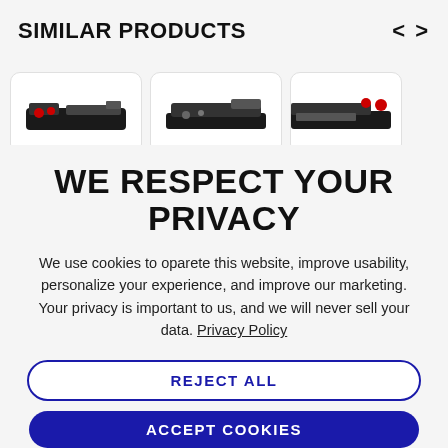SIMILAR PRODUCTS
[Figure (photo): Three product cards showing gaming keyboards/controllers in a horizontal row]
WE RESPECT YOUR PRIVACY
We use cookies to oparete this website, improve usability, personalize your experience, and improve our marketing. Your privacy is important to us, and we will never sell your data. Privacy Policy
REJECT ALL
ACCEPT COOKIES